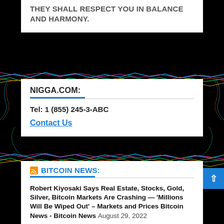THEY SHALL RESPECT YOU IN BALANCE AND HARMONY.
NIGGA.COM:
Tel: 1 (855) 245-3-ABC
Contact Us
BITCOIN NEWS:
Robert Kiyosaki Says Real Estate, Stocks, Gold, Silver, Bitcoin Markets Are Crashing — 'Millions Will Be Wiped Out' – Markets and Prices Bitcoin News - Bitcoin News August 29, 2022
Robert Kiyosaki Says Real Estate, Stocks, Gold, Silver,